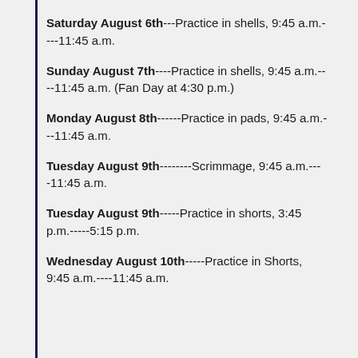Saturday August 6th---Practice in shells, 9:45 a.m.----11:45 a.m.
Sunday August 7th----Practice in shells, 9:45 a.m.----11:45 a.m. (Fan Day at 4:30 p.m.)
Monday August 8th------Practice in pads, 9:45 a.m.---11:45 a.m.
Tuesday August 9th--------Scrimmage, 9:45 a.m.----11:45 a.m.
Tuesday August 9th-----Practice in shorts, 3:45 p.m.-----5:15 p.m.
Wednesday August 10th-----Practice in Shorts, 9:45 a.m.----11:45 a.m.